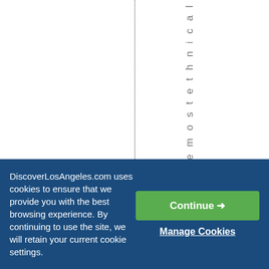f t h e m o s t e t h n i c a l
DiscoverLosAngeles.com uses cookies to ensure that we provide you with the best browsing experience. By continuing to use the site, we will retain your current cookie settings.
Continue →
Manage Cookies